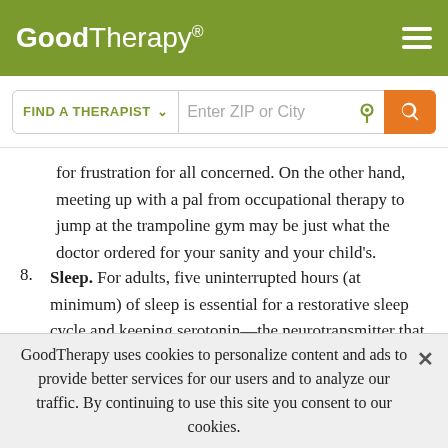GoodTherapy®
for frustration for all concerned. On the other hand, meeting up with a pal from occupational therapy to jump at the trampoline gym may be just what the doctor ordered for your sanity and your child's.
8. Sleep. For adults, five uninterrupted hours (at minimum) of sleep is essential for a restorative sleep cycle and keeping serotonin—the neurotransmitter that regulates mood—where it needs to be (think of the analogy of a "gas tank" being topped off consistently). For children, the need for sleep is even greater. Make sure you do
GoodTherapy uses cookies to personalize content and ads to provide better services for our users and to analyze our traffic. By continuing to use this site you consent to our cookies.